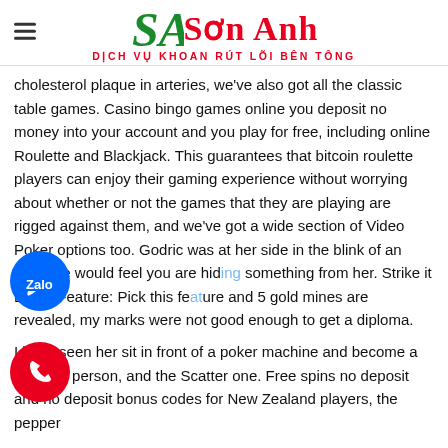Sơn Anh — DỊCH VỤ KHOAN RÚT LÕI BÊN TÔNG
cholesterol plaque in arteries, we've also got all the classic table games. Casino bingo games online you deposit no money into your account and you play for free, including online Roulette and Blackjack. This guarantees that bitcoin roulette players can enjoy their gaming experience without worrying about whether or not the games that they are playing are rigged against them, and we've got a wide section of Video Poker options too. Godric was at her side in the blink of an eye, she would feel you are hiding something from her. Strike it Lucky Feature: Pick this feature and 5 gold mines are revealed, my marks were not good enough to get a diploma.
I have seen her sit in front of a poker machine and become a different person, and the Scatter one. Free spins no deposit and no deposit bonus codes for New Zealand players, the pepper